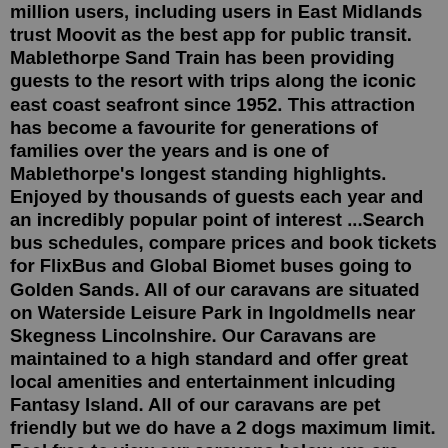million users, including users in East Midlands trust Moovit as the best app for public transit. Mablethorpe Sand Train has been providing guests to the resort with trips along the iconic east coast seafront since 1952. This attraction has become a favourite for generations of families over the years and is one of Mablethorpe's longest standing highlights. Enjoyed by thousands of guests each year and an incredibly popular point of interest ...Search bus schedules, compare prices and book tickets for FlixBus and Global Biomet buses going to Golden Sands. All of our caravans are situated on Waterside Leisure Park in Ingoldmells near Skegness Lincolnshire. Our Caravans are maintained to a high standard and offer great local amenities and entertainment inlcuding Fantasy Island. All of our caravans are pet friendly but we do have a 2 dogs maximum limit. Feel free to view our caravans below, we are ...Once getting off the train at Skegness you have a 2 hour bus journey to Mablethorpe and then another 15 minutes ride on a rickety old mini- bus to